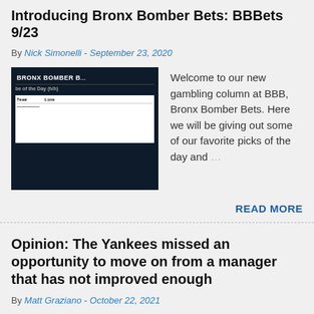Introducing Bronx Bomber Bets: BBBets 9/23
By Nick Simonelli - September 23, 2020
[Figure (photo): Bronx Bomber Bets article thumbnail showing a dark header with 'BRONX BOMBER B...' text and a table below]
Welcome to our new gambling column at BBB, Bronx Bomber Bets. Here we will be giving out some of our favorite picks of the day and ...
READ MORE
Opinion: The Yankees missed an opportunity to move on from a manager that has not improved enough
By Matt Graziano - October 22, 2021
[Figure (photo): Photo of a Yankees manager or player at a press conference with Toyota logos visible in the background]
When new leadership comes into any position it takes some time to make it your own and bring your influence to it. In the ca...
READ MORE